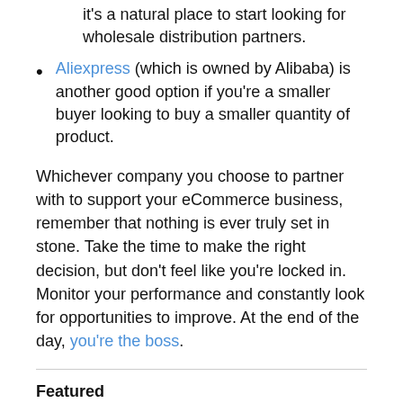it's a natural place to start looking for wholesale distribution partners.
Aliexpress (which is owned by Alibaba) is another good option if you're a smaller buyer looking to buy a smaller quantity of product.
Whichever company you choose to partner with to support your eCommerce business, remember that nothing is ever truly set in stone. Take the time to make the right decision, but don't feel like you're locked in. Monitor your performance and constantly look for opportunities to improve. At the end of the day, you're the boss.
Featured
[Figure (photo): Dark image bar at the bottom of the page]